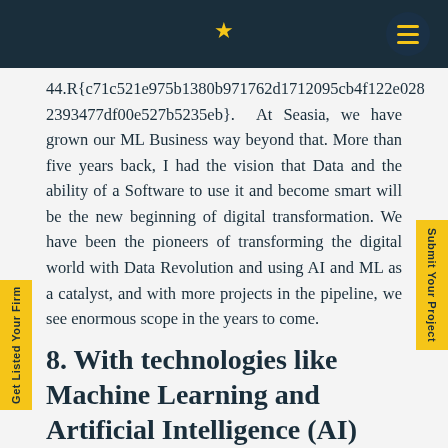★
44.R{c71c521e975b1380b971762d1712095cb4f122e0282393477df00e527b5235eb}. At Seasia, we have grown our ML Business way beyond that. More than five years back, I had the vision that Data and the ability of a Software to use it and become smart will be the new beginning of digital transformation. We have been the pioneers of transforming the digital world with Data Revolution and using AI and ML as a catalyst, and with more projects in the pipeline, we see enormous scope in the years to come.
8. With technologies like Machine Learning and Artificial Intelligence (AI) that can be used for both web applications and mobile apps, how